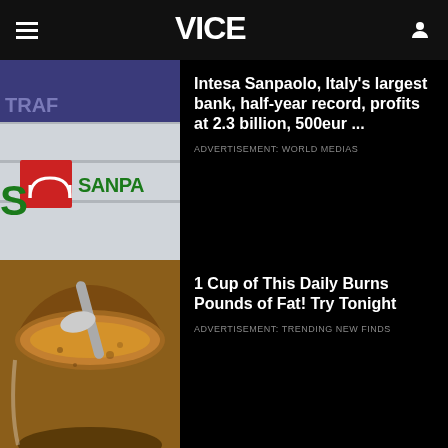VICE
[Figure (photo): Intesa Sanpaolo bank sign with red logo and green text SANPAOLO]
Intesa Sanpaolo, Italy's largest bank, half-year record, profits at 2.3 billion, 500eur ...
ADVERTISEMENT: WORLD MEDIAS
[Figure (photo): Close-up of brown spice or powder in a glass jar with a spoon]
1 Cup of This Daily Burns Pounds of Fat! Try Tonight
ADVERTISEMENT: TRENDING NEW FINDS
[Figure (photo): Person jogging outdoors with trees in background]
U.S. Surgeon: "I Urge Americans to Quit 3 Foods"